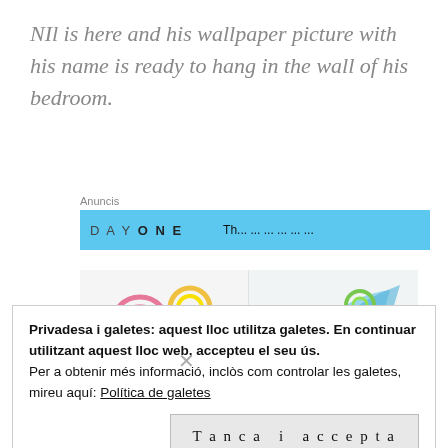NIl is here and his wallpaper picture with his name is ready to hang in the wall of his bedroom.
Anuncis
[Figure (screenshot): Blue advertisement banner showing 'DAY ONE' text in bold letters with additional partially visible text to the right]
[Figure (photo): Colorful quilling paper art photo showing rolled paper spirals in pink, yellow, green, red on the left and blue, green, orange rolled paper on the right, on a white background]
Privadesa i galetes: aquest lloc utilitza galetes. En continuar utilitzant aquest lloc web, accepteu el seu ús.
Per a obtenir més informació, inclòs com controlar les galetes, mireu aquí: Política de galetes
Tanca i accepta